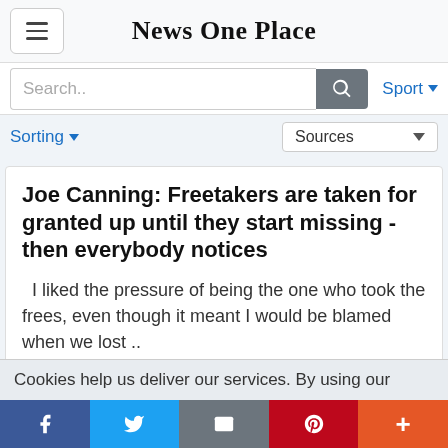News One Place
Search..
Sport
Sorting
Sources
Joe Canning: Freetakers are taken for granted up until they start missing - then everybody notices
I liked the pressure of being the one who took the frees, even though it meant I would be blamed when we lost ..
Cookies help us deliver our services. By using our
f  [twitter]  [email]  p  +